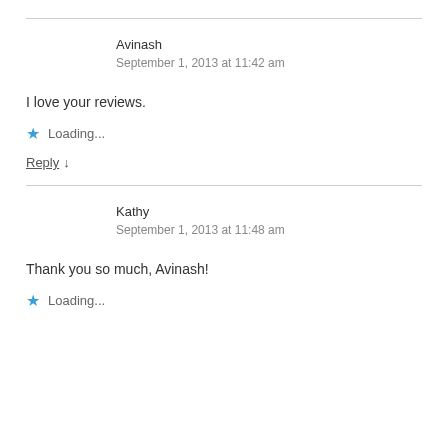Avinash
September 1, 2013 at 11:42 am
I love your reviews.
Loading...
Reply ↓
Kathy
September 1, 2013 at 11:48 am
Thank you so much, Avinash!
Loading...